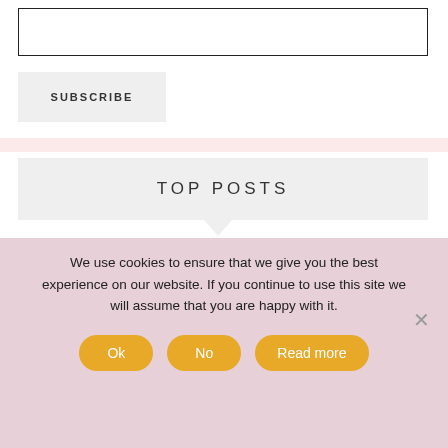[Figure (other): Email input text box (empty)]
SUBSCRIBE
TOP POSTS
[Figure (photo): Thumbnail photo of person wearing a skirt (refashion wool sweater to skirt post)]
REFASHION IT! WOOL SWEATER TO SKIRT
[Figure (photo): Thumbnail photo of fabric/rope (washable eco-friendly chew toys tutorial)]
TUTORIAL: MAKE WASHABLE, ECO-FRIENDLY CHEW TOYS FOR YOUR DOG!
We use cookies to ensure that we give you the best experience on our website. If you continue to use this site we will assume that you are happy with it.